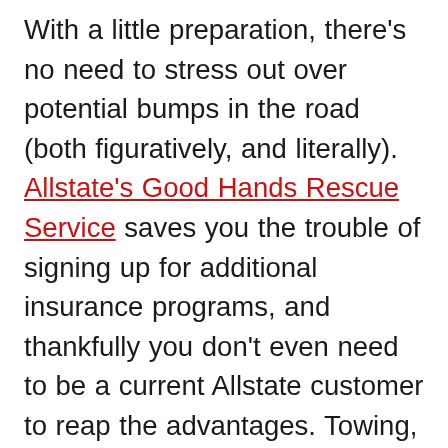With a little preparation, there's no need to stress out over potential bumps in the road (both figuratively, and literally). Allstate's Good Hands Rescue Service saves you the trouble of signing up for additional insurance programs, and thankfully you don't even need to be a current Allstate customer to reap the advantages. Towing, lockouts, tire changes, and jump-starts are all covered, and never paid for unless you use them; with this back up protection, such inconveniences don't have to be a major setback.